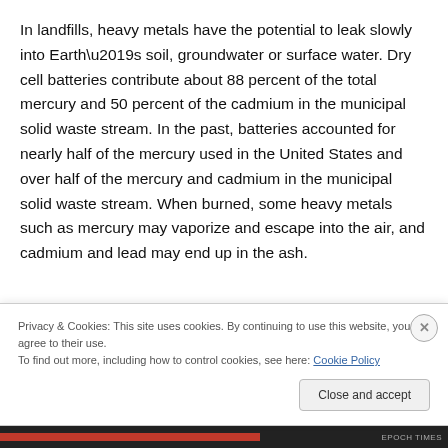In landfills, heavy metals have the potential to leak slowly into Earth’s soil, groundwater or surface water. Dry cell batteries contribute about 88 percent of the total mercury and 50 percent of the cadmium in the municipal solid waste stream. In the past, batteries accounted for nearly half of the mercury used in the United States and over half of the mercury and cadmium in the municipal solid waste stream. When burned, some heavy metals such as mercury may vaporize and escape into the air, and cadmium and lead may end up in the ash.
Privacy & Cookies: This site uses cookies. By continuing to use this website, you agree to their use.
To find out more, including how to control cookies, see here: Cookie Policy